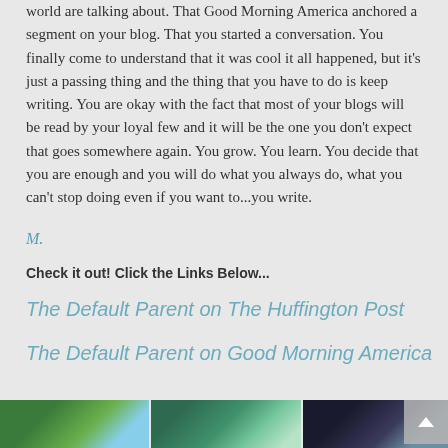world are talking about. That Good Morning America anchored a segment on your blog. That you started a conversation. You finally come to understand that it was cool it all happened, but it's just a passing thing and the thing that you have to do is keep writing. You are okay with the fact that most of your blogs will be read by your loyal few and it will be the one you don't expect that goes somewhere again. You grow. You learn. You decide that you are enough and you will do what you always do, what you can't stop doing even if you want to...you write.
M.
Check it out! Click the Links Below...
The Default Parent on The Huffington Post
The Default Parent on Good Morning America
[Figure (photo): Three photos in a horizontal strip at the bottom: palm trees against blue sky, an outdoor sports court or stadium with mountains, and a basketball hoop outdoors]